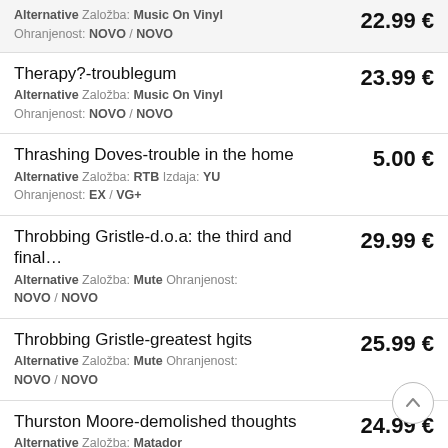Therapy?-... | Alternative Založba: Music On Vinyl Ohranjenost: NOVO / NOVO | 22.99 €
Therapy?-troublegum | Alternative Založba: Music On Vinyl Ohranjenost: NOVO / NOVO | 23.99 €
Thrashing Doves-trouble in the home | Alternative Založba: RTB Izdaja: YU Ohranjenost: EX / VG+ | 5.00 €
Throbbing Gristle-d.o.a: the third and final... | Alternative Založba: Mute Ohranjenost: NOVO / NOVO | 29.99 €
Throbbing Gristle-greatest hgits | Alternative Založba: Mute Ohranjenost: NOVO / NOVO | 25.99 €
Thurston Moore-demolished thoughts | Alternative Založba: Matador Ohranjenost: NOVO / NOVO | 24.99 €
Thurston Moore-rock n roll consciousness | Alternative Založba: Caroline | 25.99 €